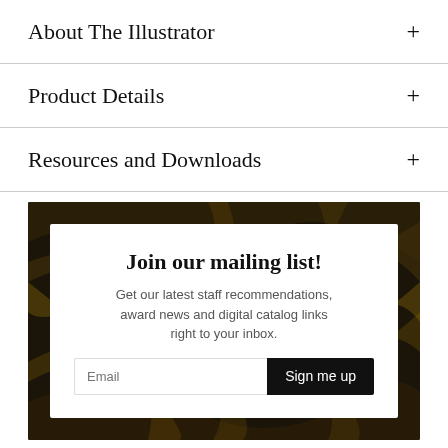About The Illustrator
Product Details
Resources and Downloads
[Figure (infographic): Mailing list sign-up widget with decorative marbled black and gold background, white card inset with title 'Join our mailing list!', descriptive text, email input field and Sign me up button.]
Join our mailing list!
Get our latest staff recommendations, award news and digital catalog links right to your inbox.